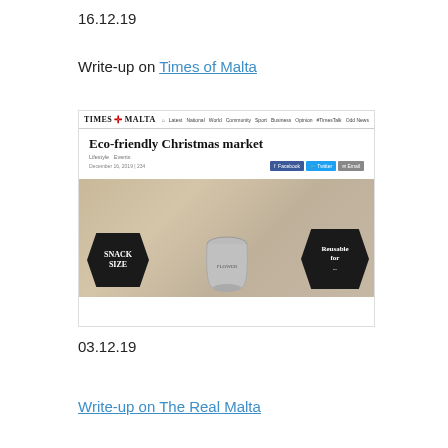16.12.19
Write-up on Times of Malta
[Figure (screenshot): Screenshot of Times of Malta website showing article titled 'Eco-friendly Christmas market' with navigation bar, category tags, date, social share buttons, and a photo of a market display with chalk signs reading 'Snack Size' and 'Reusable for...' with a metal bucket in the center.]
03.12.19
Write-up on The Real Malta